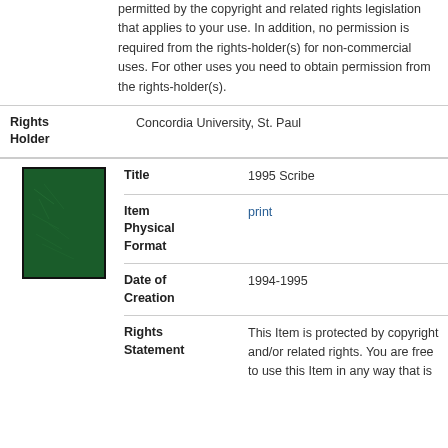permitted by the copyright and related rights legislation that applies to your use. In addition, no permission is required from the rights-holder(s) for non-commercial uses. For other uses you need to obtain permission from the rights-holder(s).
| Field | Value |
| --- | --- |
| Rights Holder | Concordia University, St. Paul |
| Title | 1995 Scribe |
| Item Physical Format | print |
| Date of Creation | 1994-1995 |
| Rights Statement | This Item is protected by copyright and/or related rights. You are free to use this Item in any way that is |